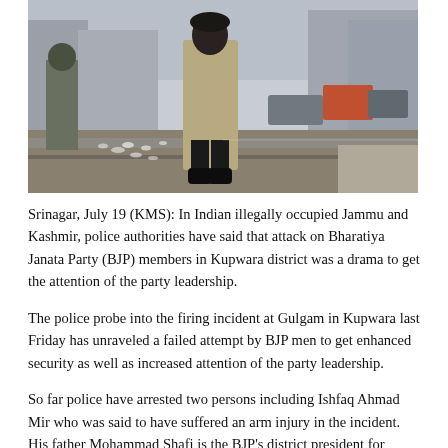[Figure (photo): A photo of a street scene in Kashmir showing a person standing on a wet road with soldiers/police visible and vehicles in the background.]
Srinagar, July 19 (KMS): In Indian illegally occupied Jammu and Kashmir, police authorities have said that attack on Bharatiya Janata Party (BJP) members in Kupwara district was a drama to get the attention of the party leadership.
The police probe into the firing incident at Gulgam in Kupwara last Friday has unraveled a failed attempt by BJP men to get enhanced security as well as increased attention of the party leadership.
So far police have arrested two persons including Ishfaq Ahmad Mir who was said to have suffered an arm injury in the incident. His father Mohammad Shafi is the BJP's district president for Kupwara and the party has already placed him